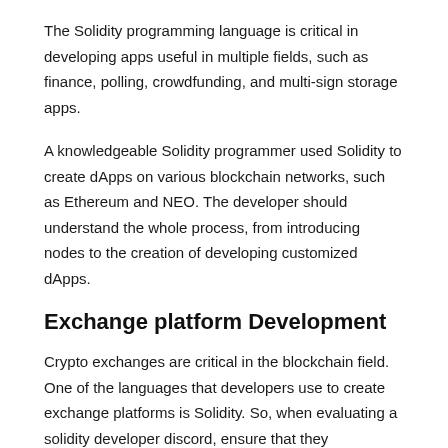The Solidity programming language is critical in developing apps useful in multiple fields, such as finance, polling, crowdfunding, and multi-sign storage apps.
A knowledgeable Solidity programmer used Solidity to create dApps on various blockchain networks, such as Ethereum and NEO. The developer should understand the whole process, from introducing nodes to the creation of developing customized dApps.
Exchange platform Development
Crypto exchanges are critical in the blockchain field. One of the languages that developers use to create exchange platforms is Solidity. So, when evaluating a solidity developer discord, ensure that they understand how to build the exchange. Furthermore, the engineer should know how to write and introduce digital agreements on the exchange.